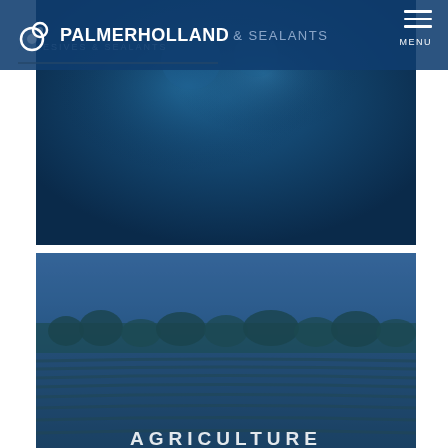PALMERHOLLAND & SEALANTS
[Figure (photo): Blue-tinted photo of a person, with dark blue overlay background]
[Figure (photo): Blue-tinted aerial photo of agricultural crop rows with tree line in background, captioned AGRICULTURE]